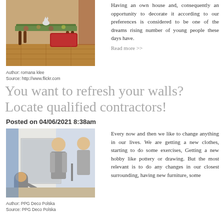[Figure (photo): Photo of a living room with a decorative table and red ottoman, furniture scene, indoor]
Author: romana klee
Source: http://www.flickr.com
Having an own house and, consequently an opportunity to decorate it according to our preferences is considered to be one of the dreams rising number of young people these days have.
Read more >>
You want to refresh your walls? Locate qualified contractors!
Posted on 04/06/2021 8:38am
[Figure (photo): Photo of workers/painters working on walls, painting contractors scene]
Author: PPG Deco Polska
Source: PPG Deco Polska
Every now and then we like to change anything in our lives. We are getting a new clothes, starting to do some exercises, Getting a new hobby like pottery or drawing. But the most relevant is to do any changes in our closest surrounding, having new furniture, some